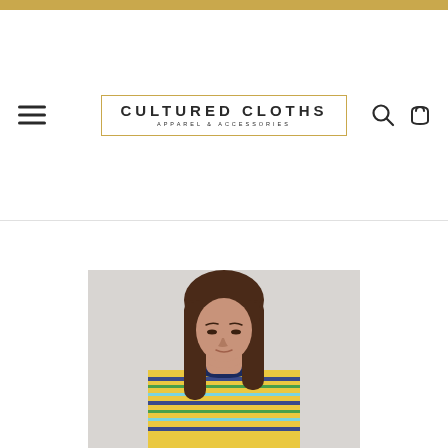Cultured Cloths — Apparel & Accessories — Website header with logo, hamburger menu, search and cart icons
[Figure (photo): A young woman with long brown hair and bangs, looking down, wearing a colorful multicolor striped top (yellow, blue, green, white stripes) with a navy collar, photographed against a light grey background.]